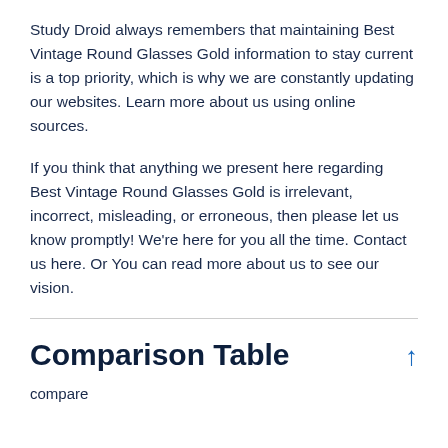Study Droid always remembers that maintaining Best Vintage Round Glasses Gold information to stay current is a top priority, which is why we are constantly updating our websites. Learn more about us using online sources.
If you think that anything we present here regarding Best Vintage Round Glasses Gold is irrelevant, incorrect, misleading, or erroneous, then please let us know promptly! We're here for you all the time. Contact us here. Or You can read more about us to see our vision.
Comparison Table
compare